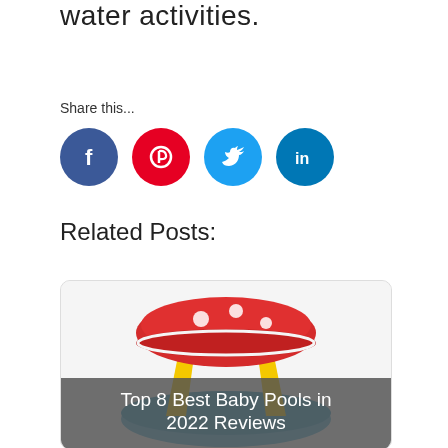water activities.
Share this...
[Figure (infographic): Four social media share buttons: Facebook (blue circle, f icon), Pinterest (red circle, P icon), Twitter (light blue circle, bird icon), LinkedIn (dark blue circle, in icon)]
Related Posts:
[Figure (photo): A colorful inflatable baby pool shaped like a mushroom with red cap and yellow legs, with a blue pool base. Overlay text reads: Top 8 Best Baby Pools in 2022 Reviews]
[Figure (photo): A black bicycle/bike frame and handlebars on light background. Overlay text reads: Top 10 Best Street Legal]